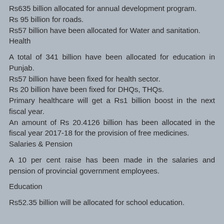Rs635 billion allocated for annual development program.
Rs 95 billion for roads.
Rs57 billion have been allocated for Water and sanitation.
Health
A total of 341 billion have been allocated for education in Punjab.
Rs57 billion have been fixed for health sector.
Rs 20 billion have been fixed for DHQs, THQs.
Primary healthcare will get a Rs1 billion boost in the next fiscal year.
An amount of Rs 20.4126 billion has been allocated in the fiscal year 2017-18 for the provision of free medicines.
Salaries & Pension
A 10 per cent raise has been made in the salaries and pension of provincial government employees.
Education
Rs52.35 billion will be allocated for school education.